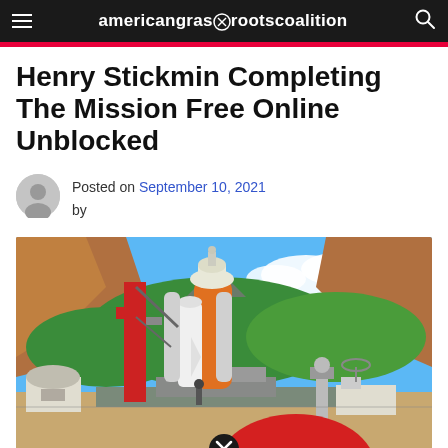americansgrassrootscoalition
Henry Stickmin Completing The Mission Free Online Unblocked
Posted on September 10, 2021 by
[Figure (illustration): Cartoon illustration of a space shuttle on a launch pad surrounded by rocky terrain, green hills, blue sky with clouds, and facility buildings. A large red dome shape is visible at the bottom with a close/cancel button overlay.]